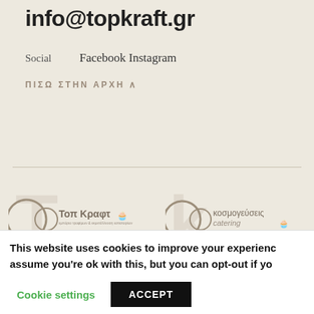info@topkraft.gr
Social
Facebook  Instagram
ΠΙΣΩ ΣΤΗΝ ΑΡΧΗ ∧
[Figure (logo): Τοπ Κραφτ logo with Greek text and cupcake icon]
[Figure (logo): κοσμογεύσεις catering logo with cupcake icon]
This website uses cookies to improve your experience. assume you're ok with this, but you can opt-out if yo...
Cookie settings    ACCEPT